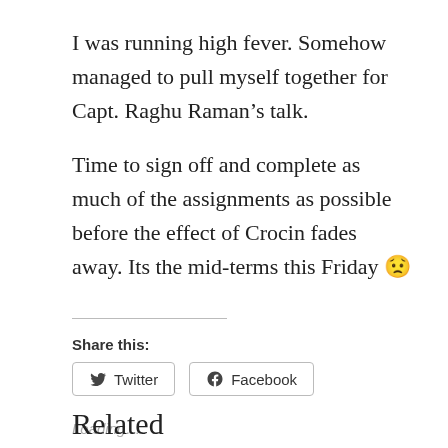I was running high fever. Somehow managed to pull myself together for Capt. Raghu Raman’s talk.
Time to sign off and complete as much of the assignments as possible before the effect of Crocin fades away. Its the mid-terms this Friday 😟
Share this:
Twitter
Facebook
Loading…
Related